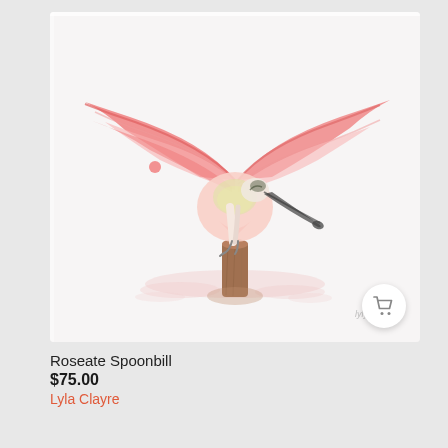[Figure (illustration): Watercolor painting of a Roseate Spoonbill bird with wings spread wide, perched on a wooden post or stump. The bird is painted in shades of pink and coral with white body, long dark bill, and displayed in a loose watercolor style with pink reflections below. White background with soft pink wash accents.]
Roseate Spoonbill
$75.00
Lyla Clayre